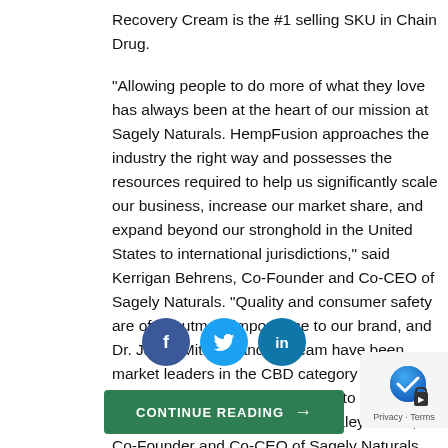Recovery Cream is the #1 selling SKU in Chain Drug.
"Allowing people to do more of what they love has always been at the heart of our mission at Sagely Naturals. HempFusion approaches the industry the right way and possesses the resources required to help us significantly scale our business, increase our market share, and expand beyond our stronghold in the United States to international jurisdictions," said Kerrigan Behrens, Co-Founder and Co-CEO of Sagely Naturals. "Quality and consumer safety are of the utmost importance to our brand, and Dr. Jason Mitchell and his team have been market leaders in the CBD category in this regard. We are incredibly excited to be joining the HempFusion team," added Kaley Nichol, Co-Founder and Co-CEO of Sagely Naturals.
[Figure (infographic): Social media share buttons: Facebook (dark blue circle with f), Twitter (light blue circle with bird icon t), LinkedIn (teal circle with in)]
[Figure (infographic): Green continue reading button with right arrow, and a privacy/terms badge in the bottom right corner]